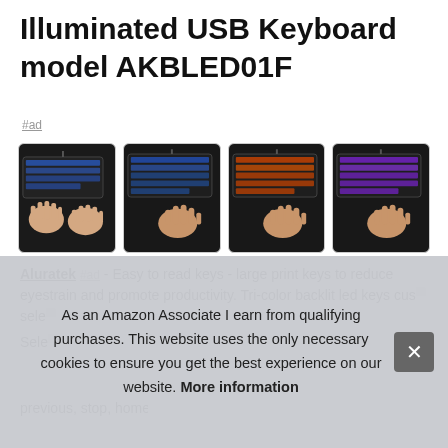Illuminated USB Keyboard model AKBLED01F
#ad
[Figure (photo): Four product photos of the Aluratek Illuminated USB Keyboard AKBLED01F shown with different backlight colors (blue, blue, orange/red, purple), each with a hand resting on the keyboard. Photos are arranged in a horizontal row with rounded-corner borders.]
Aluratek #ad - Easy to read keys - large print keys to reduce eyestrain and promote productivity. Tri-color backlit led keys cus... sele...
Sele...
previous, stop, home page, volume + /-, computer, media
As an Amazon Associate I earn from qualifying purchases. This website uses the only necessary cookies to ensure you get the best experience on our website. More information